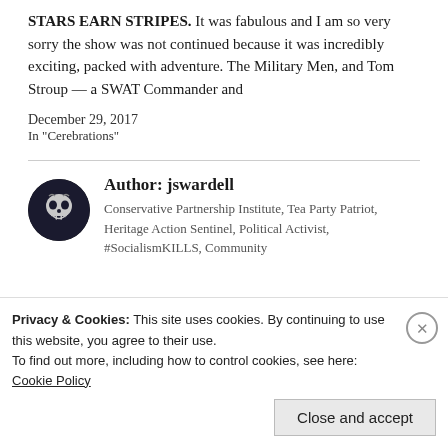STARS EARN STRIPES. It was fabulous and I am so very sorry the show was not continued because it was incredibly exciting, packed with adventure. The Military Men, and Tom Stroup — a SWAT Commander and
December 29, 2017
In "Cerebrations"
[Figure (photo): Circular avatar image with skull graphic on dark background, representing author jswardell]
Author: jswardell
Conservative Partnership Institute, Tea Party Patriot, Heritage Action Sentinel, Political Activist, #SocialismKILLS, Community...
Privacy & Cookies: This site uses cookies. By continuing to use this website, you agree to their use.
To find out more, including how to control cookies, see here:
Cookie Policy